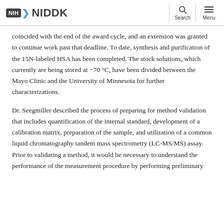NIH NIDDK — Search | Menu
coincided with the end of the award cycle, and an extension was granted to continue work past that deadline. To date, synthesis and purification of the 15N-labeled HSA has been completed. The stock solutions, which currently are being stored at −70 °C, have been divided between the Mayo Clinic and the University of Minnesota for further characterizations.
Dr. Seegmiller described the process of preparing for method validation that includes quantification of the internal standard, development of a calibration matrix, preparation of the sample, and utilization of a common liquid chromatography tandem mass spectrometry (LC-MS/MS) assay. Prior to validating a method, it would be necessary to understand the performance of the measurement procedure by performing preliminary